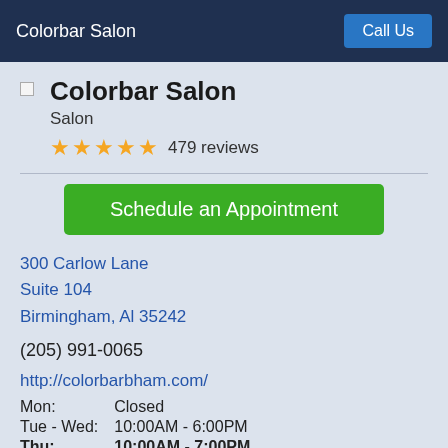Colorbar Salon | Call Us
Colorbar Salon
Salon
★★★★★ 479 reviews
Schedule an Appointment
300 Carlow Lane
Suite 104
Birmingham, Al 35242
(205) 991-0065
http://colorbarbham.com/
| Day | Hours |
| --- | --- |
| Mon: | Closed |
| Tue - Wed: | 10:00AM - 6:00PM |
| Thu: | 10:00AM - 7:00PM |
| Fri: | 7:00AM - 6:00PM |